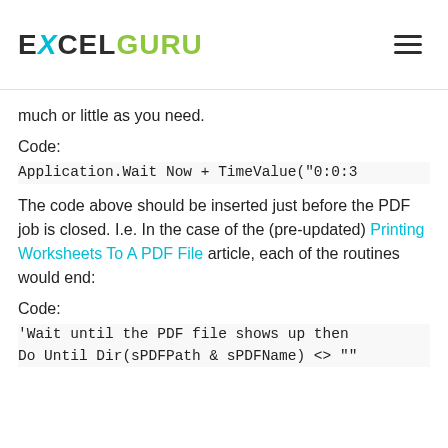EXCELGURU
much or little as you need.
Code:
Application.Wait Now + TimeValue("0:0:3
The code above should be inserted just before the PDF job is closed. I.e. In the case of the (pre-updated) Printing Worksheets To A PDF File article, each of the routines would end:
Code:
'Wait until the PDF file shows up then
Do Until Dir(sPDFPath & sPDFName) <> ""